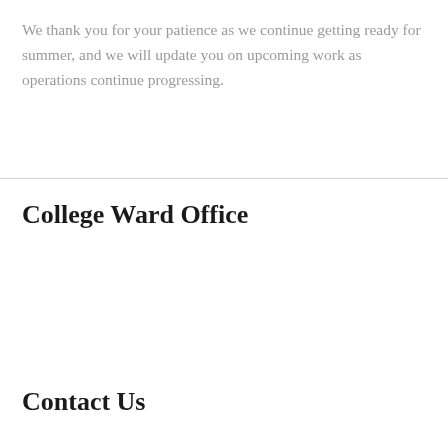We thank you for your patience as we continue getting ready for summer, and we will update you on upcoming work as operations continue progressing.
College Ward Office
Contact Us